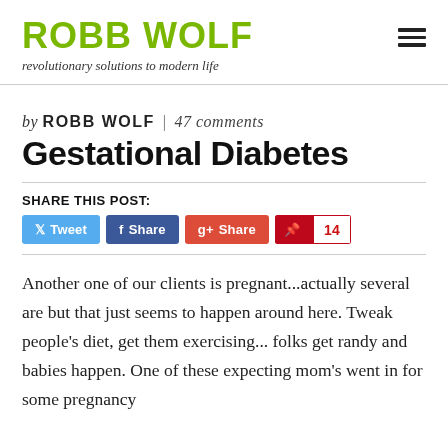ROBB WOLF | revolutionary solutions to modern life
by ROBB WOLF | 47 comments
Gestational Diabetes
SHARE THIS POST:
Tweet | Share | Share | 14
Another one of our clients is pregnant...actually several are but that just seems to happen around here. Tweak people's diet, get them exercising... folks get randy and babies happen. One of these expecting mom's went in for some pregnancy